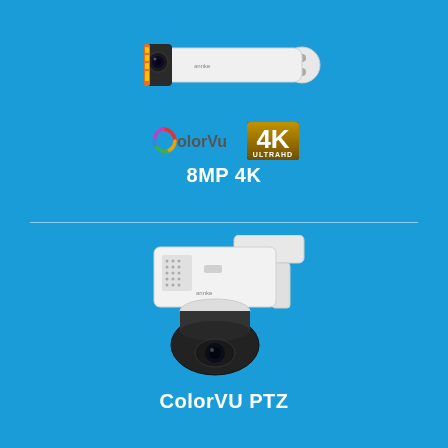[Figure (photo): White bullet security camera with orange/yellow LED strip on front, mounted on a bracket, viewed from the side. Hikvision/Annke brand camera.]
[Figure (logo): ColorVu logo with colorful C icon and the 4K Ultra HD badge in gold and black.]
8MP 4K
[Figure (photo): White PTZ dome security camera mounted on wall bracket, with black dome head, viewed from the front-side. Annke brand ColorVU PTZ camera.]
ColorVU PTZ